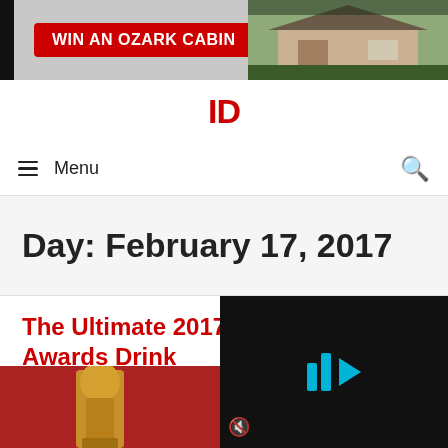[Figure (other): Advertisement banner: red button with text 'WIN AN OZARK CABIN' and an image of a cabin on the right, on a dark background]
[Figure (logo): Website logo with red letters on white background]
≡ Menu
Day: February 17, 2017
The Ultimate 2017 Academy Awards Drink...
February 17, 2017 by
[Figure (photo): Oscar award statue on a red background, partially visible]
[Figure (other): Video player overlay with blue play icon (two bars and a triangle) on a dark background, with mute icon in lower left]